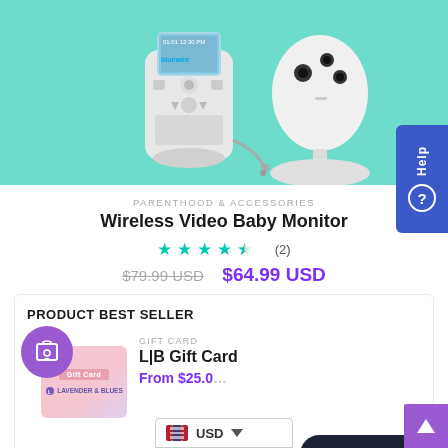[Figure (photo): Baby monitor product photo showing a handheld monitor unit with screen on the left and a camera unit on the right, both white/grey colored, on a teal/mint green background]
PARENTHOOD & ACCESSORIES
Wireless Video Baby Monitor
★★★★½ (2)
$79.99 USD  $64.99 USD
PRODUCT BEST SELLER
GIFT CARD
L|B Gift Card
From $25.0...
Chat with us
USD